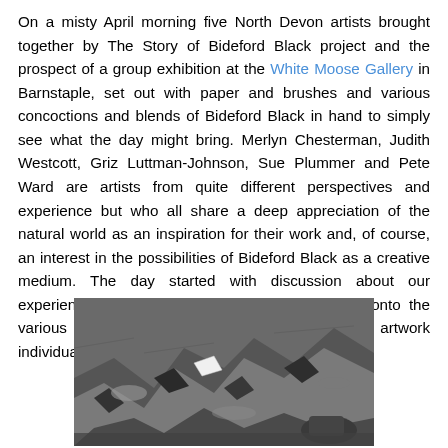On a misty April morning five North Devon artists brought together by The Story of Bideford Black project and the prospect of a group exhibition at the White Moose Gallery in Barnstaple, set out with paper and brushes and various concoctions and blends of Bideford Black in hand to simply see what the day might bring. Merlyn Chesterman, Judith Westcott, Griz Luttman-Johnson, Sue Plummer and Pete Ward are artists from quite different perspectives and experience but who all share a deep appreciation of the natural world as an inspiration for their work and, of course, an interest in the possibilities of Bideford Black as a creative medium. The day started with discussion about our experiences so far with the ‘black stuff’ and led onto the various ways we might like to approach creating artwork individually and as a group for the forthcoming show.
[Figure (photo): Black and white photograph of rocky terrain with a piece of white paper visible among the rocks, and a figure or bag at the lower right. Artists working outdoors on rocky ground.]